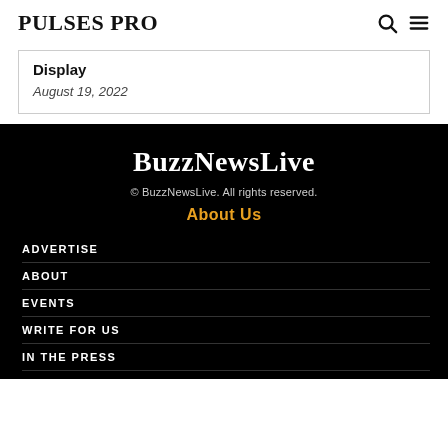PULSES PRO
Display
August 19, 2022
BuzzNewsLive
© BuzzNewsLive. All rights reserved.
About Us
ADVERTISE
ABOUT
EVENTS
WRITE FOR US
IN THE PRESS